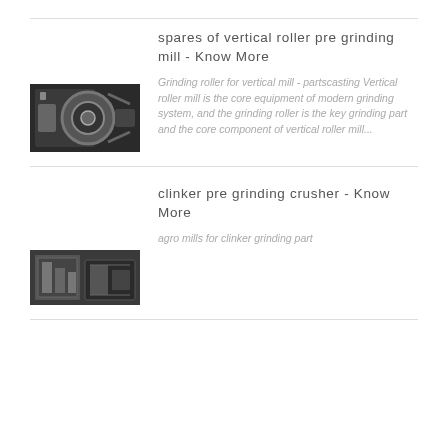spares of vertical roller pre grinding mill - Know More
[Figure (photo): Close-up photo of a mechanical gear/roller component for a vertical grinding mill, showing dark metal parts with a circular gear element]
Grinding roller for vertical mill - partscasting Vertical roller mill is the core equipment of modern grinding system, and the grinding roller is the key grinding part and the core component of vertical roller mill...
clinker pre grinding crusher - Know More
[Figure (photo): Photo of industrial clinker grinding crusher equipment showing metal machinery components]
agro mills for clinker grinding part